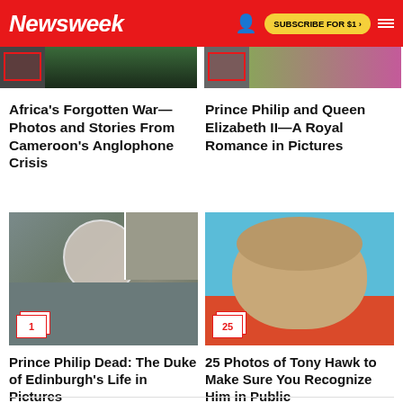Newsweek — SUBSCRIBE FOR $1 >
[Figure (photo): Partial top strip of two article thumbnail images cropped at top]
Africa's Forgotten War—Photos and Stories From Cameroon's Anglophone Crisis
Prince Philip and Queen Elizabeth II—A Royal Romance in Pictures
[Figure (photo): Photo montage of Prince Philip across different life stages, with circular inset]
[Figure (photo): Photo of Tony Hawk smiling in front of blue and red background]
Prince Philip Dead: The Duke of Edinburgh's Life in Pictures
25 Photos of Tony Hawk to Make Sure You Recognize Him in Public